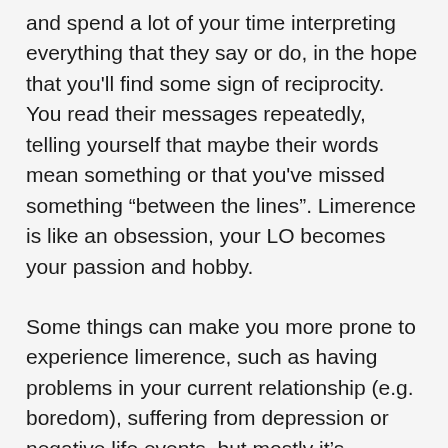and spend a lot of your time interpreting everything that they say or do, in the hope that you'll find some sign of reciprocity. You read their messages repeatedly, telling yourself that maybe their words mean something or that you've missed something “between the lines”. Limerence is like an obsession, your LO becomes your passion and hobby.
Some things can make you more prone to experience limerence, such as having problems in your current relationship (e.g. boredom), suffering from depression or negative life events, but mostly it’s because you have childhood attachment wounds. Those that have an anxious attachment style are more likely to experience